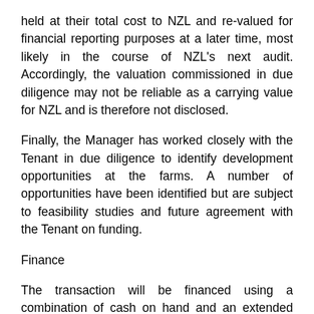held at their total cost to NZL and re-valued for financial reporting purposes at a later time, most likely in the course of NZL's next audit. Accordingly, the valuation commissioned in due diligence may not be reliable as a carrying value for NZL and is therefore not disclosed.
Finally, the Manager has worked closely with the Tenant in due diligence to identify development opportunities at the farms. A number of opportunities have been identified but are subject to feasibility studies and future agreement with the Tenant on funding.
Finance
The transaction will be financed using a combination of cash on hand and an extended debt facility with